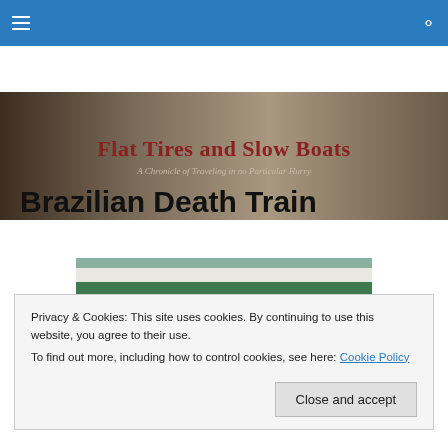Navigation bar with hamburger menu and search icon
[Figure (illustration): Blog header banner with title 'Flat Tires and Slow Boats' and subtitle 'A Chronicle of Traveling in no Particular Hurry' on a dark sepia/brown background]
Brazilian Death Train
[Figure (photo): Photo of a green and white train with passengers looking out of windows]
Privacy & Cookies: This site uses cookies. By continuing to use this website, you agree to their use.
To find out more, including how to control cookies, see here: Cookie Policy
Close and accept